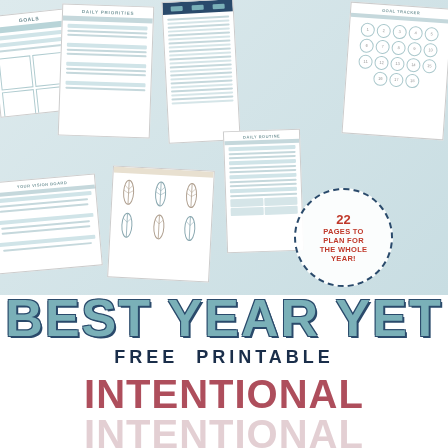[Figure (illustration): Collage of printable planner pages including daily priorities, goals, daily routine, goal tracker with circles, vision board, and decorative feather pages, arranged at angles on a light teal background. A circular dashed badge reads '22 PAGES TO PLAN FOR THE WHOLE YEAR!']
BEST YEAR YET
FREE PRINTABLE
INTENTIONAL